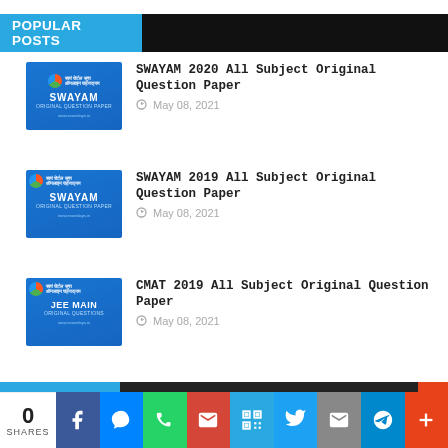POPULAR POSTS
[Figure (screenshot): Thumbnail image for SWAYAM 2020 paper - blue background with SWAYAM logo and 'ORIGINAL QUESTION PAPERS' text]
SWAYAM 2020 All Subject Original Question Paper
May 08, 2021
[Figure (screenshot): Thumbnail image for SWAYAM 2019 paper - blue background with SWAYAM logo and 'ORIGINAL QUESTION PAPERS' text]
SWAYAM 2019 All Subject Original Question Paper
May 08, 2021
[Figure (screenshot): Thumbnail image for CMAT 2019 paper - blue background with JEE MAIN ORIGINAL QUESTIONS text]
CMAT 2019 All Subject Original Question Paper
May 08, 2021